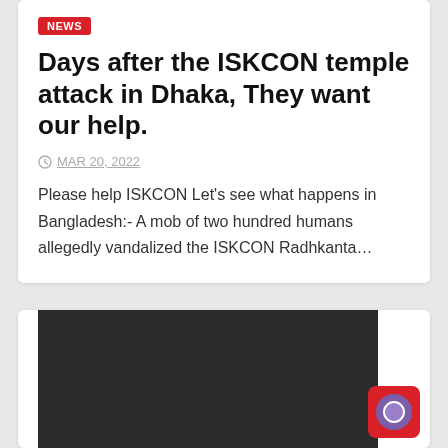NEWS
Days after the ISKCON temple attack in Dhaka, They want our help.
MAR 20, 2022
Please help ISKCON Let's see what happens in Bangladesh:- A mob of two hundred humans allegedly vandalized the ISKCON Radhkanta…
[Figure (photo): Dark image placeholder in a card at the bottom of the page, with a red notification button in the bottom right corner]